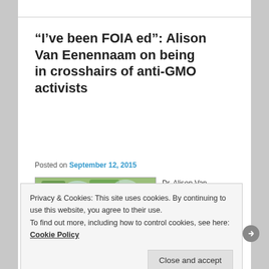“I’ve been FOIA ed”: Alison Van Eenennaam on being in crosshairs of anti-GMO activists
Posted on September 12, 2015
[Figure (photo): Photo of Dr. Alison Van Eenennaam outdoors with trees in background]
Dr. Alison Van Eenennaam
Privacy & Cookies: This site uses cookies. By continuing to use this website, you agree to their use.
To find out more, including how to control cookies, see here: Cookie Policy